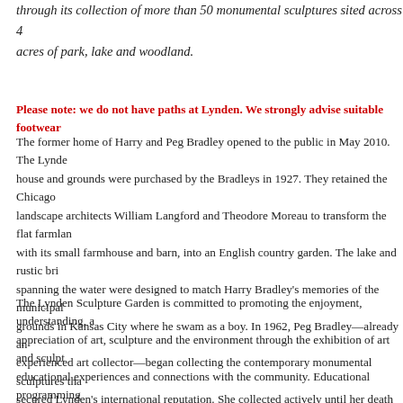through its collection of more than 50 monumental sculptures sited across 4 acres of park, lake and woodland.
Please note: we do not have paths at Lynden. We strongly advise suitable footwear
The former home of Harry and Peg Bradley opened to the public in May 2010. The Lynden house and grounds were purchased by the Bradleys in 1927. They retained the Chicago landscape architects William Langford and Theodore Moreau to transform the flat farmland with its small farmhouse and barn, into an English country garden. The lake and rustic bridge spanning the water were designed to match Harry Bradley's memories of the municipal grounds in Kansas City where he swam as a boy. In 1962, Peg Bradley—already an experienced art collector—began collecting the contemporary monumental sculptures that secured Lynden's international reputation. She collected actively until her death in 1978, often inviting artists to Lynden to site their works. The collection includes sculptures by Alexander Archipenko, Henry Moore, Barbara Hepworth, Clement Meadmore, Marta Pan, Tony Smith, Mark di Suvero and many others.
The Lynden Sculpture Garden is committed to promoting the enjoyment, understanding, and appreciation of art, sculpture and the environment through the exhibition of art and sculpture, educational experiences and connections with the community. Educational programming focuses on the intersection of art and nature, providing hands-on experiences that integrate Lynden's collection of monumental outdoor sculpture with the natural ecology of the site.